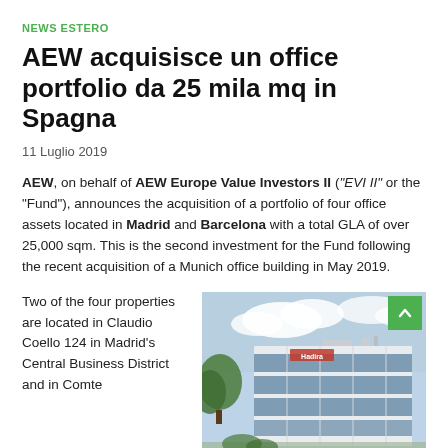NEWS ESTERO
AEW acquisisce un office portfolio da 25 mila mq in Spagna
11 Luglio 2019
AEW, on behalf of AEW Europe Value Investors II ("EVI II" or the "Fund"), announces the acquisition of a portfolio of four office assets located in Madrid and Barcelona with a total GLA of over 25,000 sqm. This is the second investment for the Fund following the recent acquisition of a Munich office building in May 2019.
Two of the four properties are located in Claudio Coello 124 in Madrid's Central Business District and in Comte
[Figure (photo): Photo of a modern white office building with blue glass windows, trees in the foreground and cloudy sky background. A red logo/sign is visible on the building facade.]